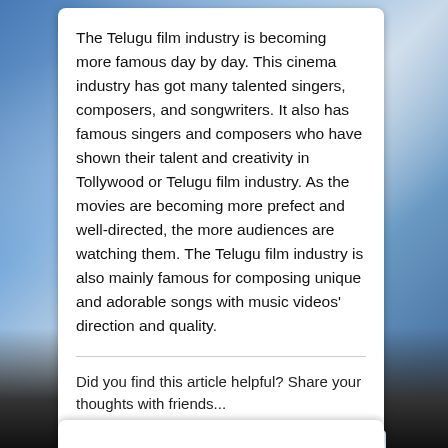The Telugu film industry is becoming more famous day by day. This cinema industry has got many talented singers, composers, and songwriters. It also has famous singers and composers who have shown their talent and creativity in Tollywood or Telugu film industry. As the movies are becoming more prefect and well-directed, the more audiences are watching them. The Telugu film industry is also mainly famous for composing unique and adorable songs with music videos' direction and quality.
Did you find this article helpful? Share your thoughts with friends...
[Figure (other): Share on Facebook button (blue with Facebook f icon) and Tweet button (light blue with Twitter bird icon)]